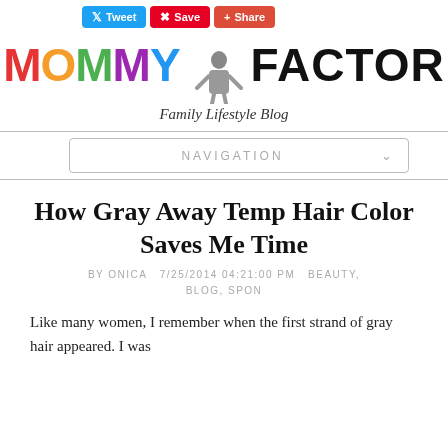Mommy Factor — Family Lifestyle Blog
How Gray Away Temp Hair Color Saves Me Time
BY ONICA   7/25/2014 04:21:00 PM   BEAUTY, BLOG, SPON
Like many women, I remember when the first strand of gray hair appeared. I was